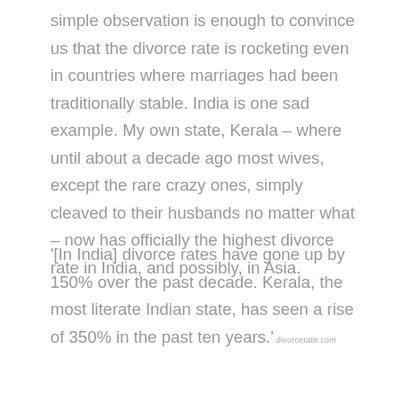simple observation is enough to convince us that the divorce rate is rocketing even in countries where marriages had been traditionally stable. India is one sad example. My own state, Kerala – where until about a decade ago most wives, except the rare crazy ones, simply cleaved to their husbands no matter what – now has officially the highest divorce rate in India, and possibly, in Asia.
'[In India] divorce rates have gone up by 150% over the past decade. Kerala, the most literate Indian state, has seen a rise of 350% in the past ten years.' divorcerate.com